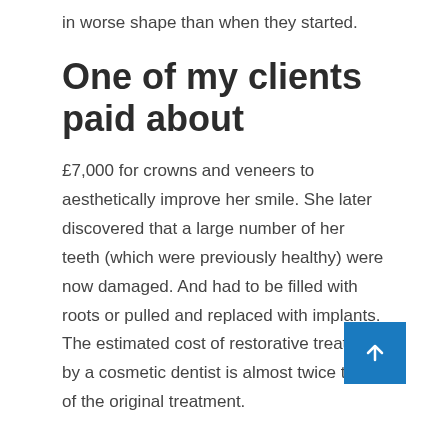in worse shape than when they started.
One of my clients paid about
£7,000 for crowns and veneers to aesthetically improve her smile. She later discovered that a large number of her teeth (which were previously healthy) were now damaged. And had to be filled with roots or pulled and replaced with implants. The estimated cost of restorative treatment by a cosmetic dentist is almost twice that of the original treatment.
Smile makeovers can be